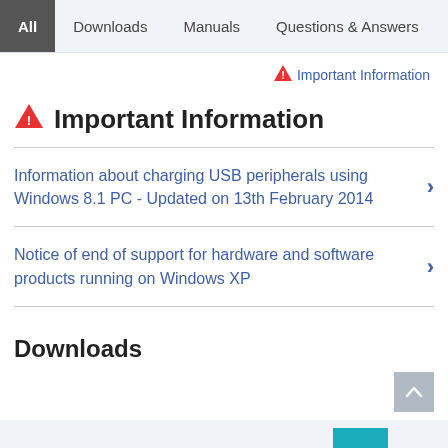All | Downloads | Manuals | Questions & Answers
Important Information
Important Information
Information about charging USB peripherals using Windows 8.1 PC - Updated on 13th February 2014
Notice of end of support for hardware and software products running on Windows XP
Downloads